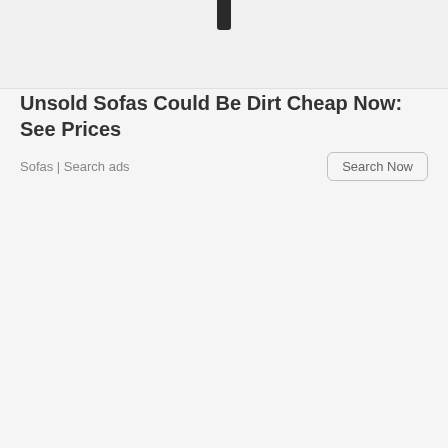[Figure (other): Partial image of a dark bar/handle at the top of the page against a light gray background]
Unsold Sofas Could Be Dirt Cheap Now: See Prices
Sofas | Search ads
Search Now